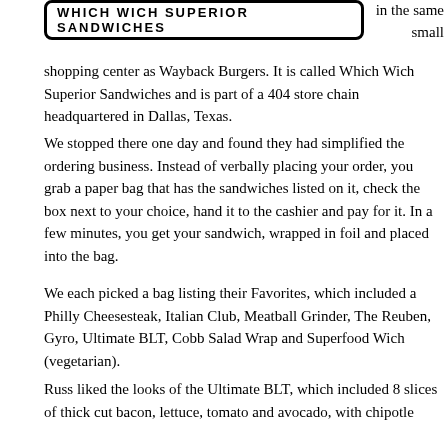[Figure (logo): Which Wich Superior Sandwiches logo — bold uppercase text in a rounded rectangle border]
in the same small shopping center as Wayback Burgers. It is called Which Wich Superior Sandwiches and is part of a 404 store chain headquartered in Dallas, Texas.
We stopped there one day and found they had simplified the ordering business. Instead of verbally placing your order, you grab a paper bag that has the sandwiches listed on it, check the box next to your choice, hand it to the cashier and pay for it. In a few minutes, you get your sandwich, wrapped in foil and placed into the bag.
We each picked a bag listing their Favorites, which included a Philly Cheesesteak, Italian Club, Meatball Grinder, The Reuben, Gyro, Ultimate BLT, Cobb Salad Wrap and Superfood Wich (vegetarian).
Russ liked the looks of the Ultimate BLT, which included 8 slices of thick cut bacon, lettuce, tomato and avocado, with chipotle